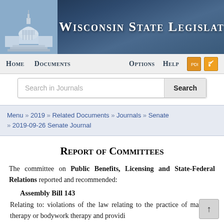Wisconsin State Legislature
Home  Documents  Options  Help
Search in Journals  Search
Menu » 2019 » Related Documents » Journals » Senate » 2019-09-26 Senate Journal
Report of Committees
The committee on Public Benefits, Licensing and State-Federal Relations reported and recommended:
Assembly Bill 143
Relating to: violations of the law relating to the practice of massage therapy or bodywork therapy and providi